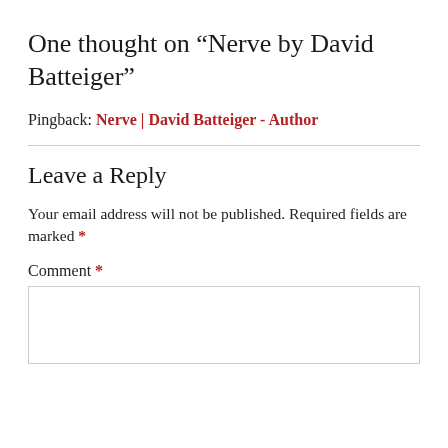One thought on “Nerve by David Batteiger”
Pingback: Nerve | David Batteiger - Author
Leave a Reply
Your email address will not be published. Required fields are marked *
Comment *